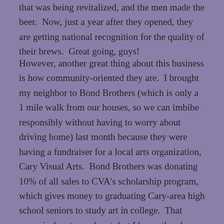that was being revitalized, and the men made the beer. Now, just a year after they opened, they are getting national recognition for the quality of their brews. Great going, guys!
However, another great thing about this business is how community-oriented they are. I brought my neighbor to Bond Brothers (which is only a 1 mile walk from our houses, so we can imbibe responsibly without having to worry about driving home) last month because they were having a fundraiser for a local arts organization, Cary Visual Arts. Bond Brothers was donating 10% of all sales to CVA's scholarship program, which gives money to graduating Cary-area high school seniors to study art in college. That cause is dear to my heart, but I know they have done multiple fundraisers for other local non-profits. I have also seen donated kegs at many Cary charitable receptions or other adult activities. All their used grain is taken to a local small family-owned farm to be part of a healthy cattle